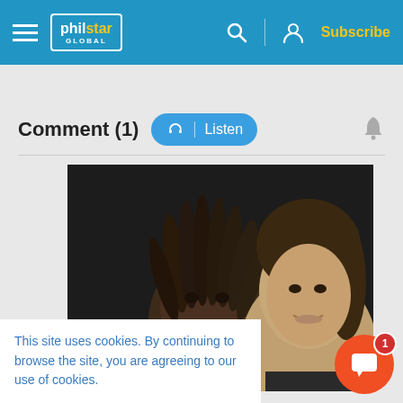philstar GLOBAL — Subscribe
Comment (1)
[Figure (photo): Two young people smiling, one with dreadlocks in the foreground, another with longer hair in the background]
This site uses cookies. By continuing to browse the site, you are agreeing to our use of cookies.